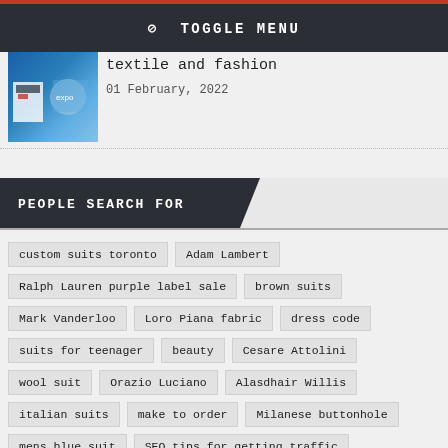TOGGLE MENU
textile and fashion
01 February, 2022
PEOPLE SEARCH FOR
custom suits toronto
Adam Lambert
Ralph Lauren purple label sale
brown suits
Mark Vanderloo
Loro Piana fabric
dress code
suits for teenager
beauty
Cesare Attolini
wool suit
Orazio Luciano
Alasdhair Willis
italian suits
make to order
Milanese buttonhole
mens blue suit
SEO tips for getting traffic